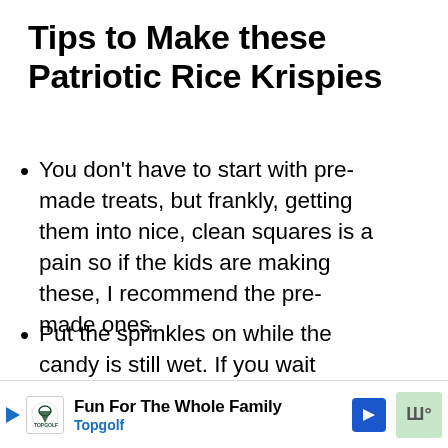Tips to Make these Patriotic Rice Krispies
You don't have to start with pre-made treats, but frankly, getting them into nice, clean squares is a pain so if the kids are making these, I recommend the pre-made ones.
Put the sprinkles on while the candy is still wet. If you wait too long, they won't stick.
[Figure (other): UI overlay: heart/like button showing 163, share button, and 'What's Next: Yummy Firecracker...' card with circular food image]
[Figure (other): Advertisement banner: Topgolf 'Fun For The Whole Family' ad with logo, blue arrow button, and green image thumbnail]